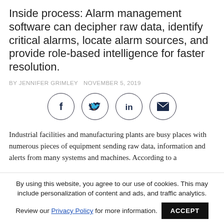Inside process: Alarm management software can decipher raw data, identify critical alarms, locate alarm sources, and provide role-based intelligence for faster resolution.
BY JENNIFER GRIMLEY  NOVEMBER 5, 2019
[Figure (infographic): Four social sharing icon buttons in circles: Facebook (f), Twitter (bird), LinkedIn (in), Email (envelope)]
Industrial facilities and manufacturing plants are busy places with numerous pieces of equipment sending raw data, information and alerts from many systems and machines. According to a
By using this website, you agree to our use of cookies. This may include personalization of content and ads, and traffic analytics.
Review our Privacy Policy for more information.